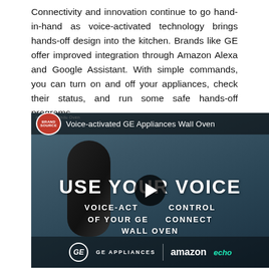Connectivity and innovation continue to go hand-in-hand as voice-activated technology brings hands-off design into the kitchen. Brands like GE offer improved integration through Amazon Alexa and Google Assistant. With simple commands, you can turn on and off your appliances, check their status, and run some safe hands-off programs.
[Figure (screenshot): YouTube video thumbnail for 'Voice-activated GE Appliances Wall Oven' by BrandSource. Shows a kitchen scene with a smart speaker device, bold white text reading 'USE YOUR VOICE' and 'VOICE-ACTIVATED CONTROL OF YOUR GE WIFI CONNECT WALL OVEN'. Bottom shows GE Appliances and Amazon Echo logos. A play button is visible in the center.]